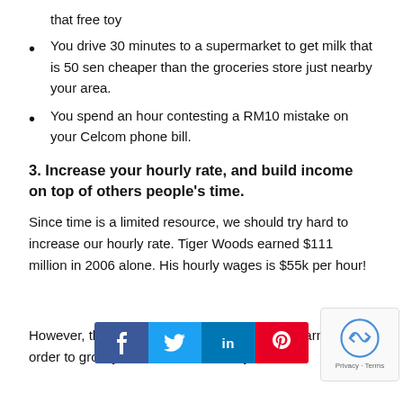that free toy
You drive 30 minutes to a supermarket to get milk that is 50 sen cheaper than the groceries store just nearby your area.
You spend an hour contesting a RM10 mistake on your Celcom phone bill.
3. Increase your hourly rate, and build income on top of others people's time.
Since time is a limited resource, we should try hard to increase our hourly rate. Tiger Woods earned $111 million in 2006 alone. His hourly wages is $55k per hour!
[Figure (infographic): Social sharing bar with Facebook, Twitter, LinkedIn, and Pinterest buttons]
However, there [partially obscured] person's earning. In order to grow your income further, try